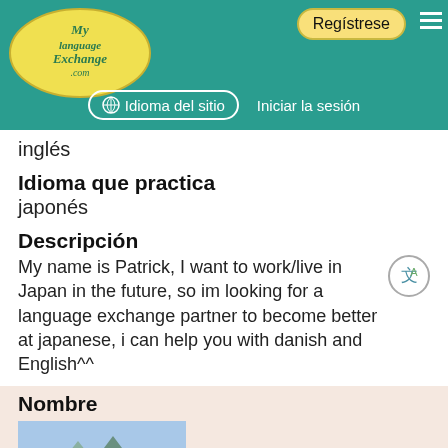[Figure (logo): MyLanguageExchange.com logo — yellow oval with cursive green text on teal header background]
Regístrese | Idioma del sitio | Iniciar la sesión
inglés
Idioma que practica
japonés
Descripción
My name is Patrick, I want to work/live in Japan in the future, so im looking for a language exchange partner to become better at japanese, i can help you with danish and English^^
Nombre
[Figure (photo): Profile photo of a person standing outdoors near a river with mountains and green trees in the background]